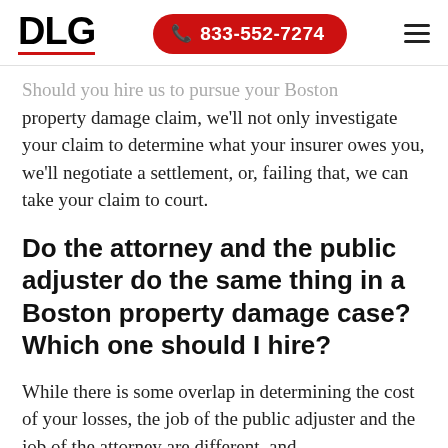DLG | 833-552-7274
Should you hire us to pursue your Boston property damage claim, we'll not only investigate your claim to determine what your insurer owes you, we'll negotiate a settlement, or, failing that, we can take your claim to court.
Do the attorney and the public adjuster do the same thing in a Boston property damage case? Which one should I hire?
While there is some overlap in determining the cost of your losses, the job of the public adjuster and the job of the attorney are different, and